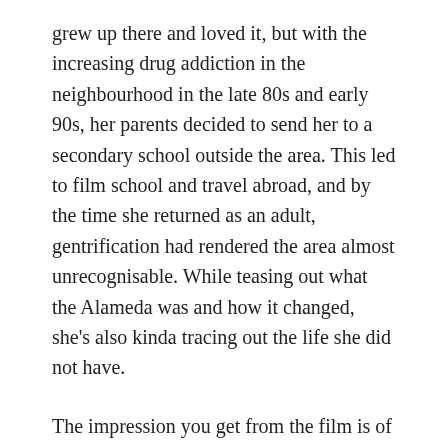grew up there and loved it, but with the increasing drug addiction in the neighbourhood in the late 80s and early 90s, her parents decided to send her to a secondary school outside the area. This led to film school and travel abroad, and by the time she returned as an adult, gentrification had rendered the area almost unrecognisable. While teasing out what the Alameda was and how it changed, she's also kinda tracing out the life she did not have.
The impression you get from the film is of Alameda as a place of women. It was where women earned money through sex work. It was where women made art in music, dancing, flamenco. Today it has women leading squatting activism and women keep the neighbourhood's hist…